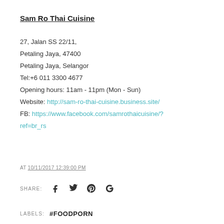Sam Ro Thai Cuisine
27, Jalan SS 22/11,
Petaling Jaya, 47400
Petaling Jaya, Selangor
Tel:+6 011 3300 4677
Opening hours: 11am - 11pm (Mon - Sun)
Website: http://sam-ro-thai-cuisine.business.site/
FB: https://www.facebook.com/samrothaicuisine/?ref=br_rs
AT 10/11/2017 12:39:00 PM
SHARE:
LABELS: #FOODPORN